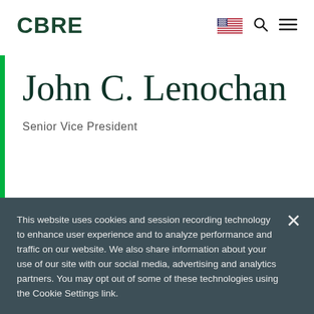CBRE
John C. Lenochan
Senior Vice President
This website uses cookies and session recording technology to enhance user experience and to analyze performance and traffic on our website. We also share information about your use of our site with our social media, advertising and analytics partners. You may opt out of some of these technologies using the Cookie Settings link.